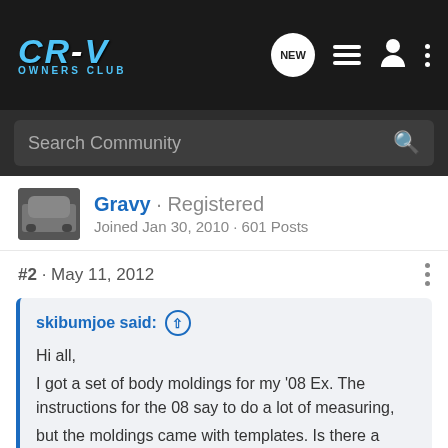CR-V Owners Club
Search Community
Gravy · Registered
Joined Jan 30, 2010 · 601 Posts
#2 · May 11, 2012
skibumjoe said:
Hi all,
I got a set of body moldings for my '08 Ex. The instructions for the 08 say to do a lot of measuring,
but the moldings came with templates. Is there a body change that happened between 08 & 11?
Has anyone had any luck using the templates on an '08?
Click to expand...
Pretty sure the door panels are all the same for those years so